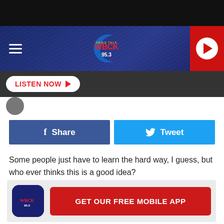[Figure (screenshot): WBCK 95.3 radio station website header with dark navy background, WBCK logo in center, hamburger menu on left, red play button on right]
[Figure (other): Listen Now button on dark grey bar]
[Figure (other): Facebook Share button (blue) and Twitter Tweet button (cyan) side by side]
Some people just have to learn the hard way, I guess, but who ever thinks this is a good idea?
[Figure (other): GET OUR FREE MOBILE APP banner with WBCK icon and red button]
DO NOT SHINE LASERS AT EMERGENCY VEHICLES
Whether it is in the sky or on the street, just don't do it. If